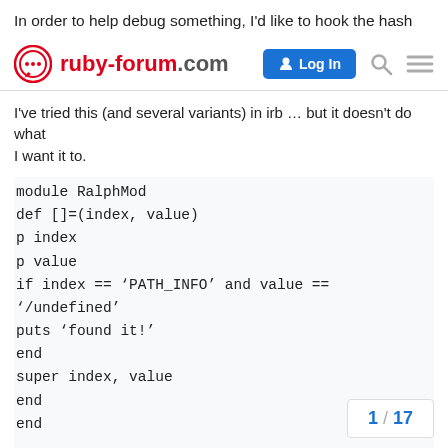In order to help debug something, I'd like to hook the hash
[Figure (screenshot): ruby-forum.com navigation bar with Log In button, search icon, and hamburger menu]
I've tried this (and several variants) in irb … but it doesn't do what
I want it to.
module RalphMod
def []=(index, value)
p index
p value
if index == 'PATH_INFO' and value == '/undefined'
puts 'found it!'
end
super index, value
end
end

class Hash
extend RalphMod
end
1 / 17